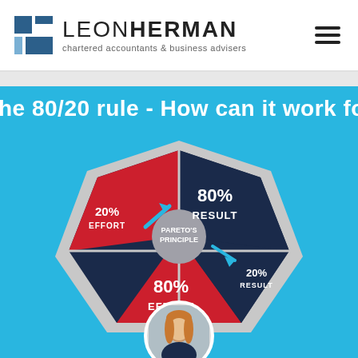LEON HERMAN chartered accountants & business advisers
The 80/20 rule - How can it work for you
[Figure (infographic): Pareto's Principle infographic showing a heptagon shape divided into four sections: top dark navy section labeled '80% RESULT', left red section labeled '20% EFFORT', bottom red section labeled '80% EFFORT', right dark navy section labeled '20% RESULT'. Gray arrows point between sections. Center circle reads 'PARETO'S PRINCIPLE'.]